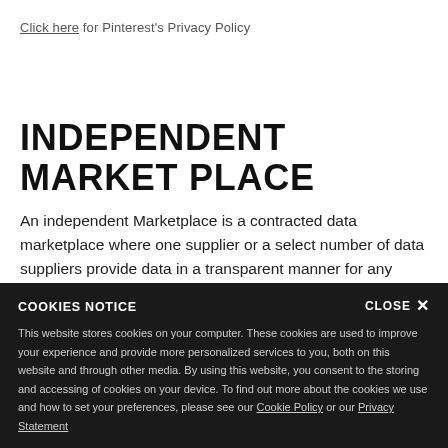Click here for Pinterest's Privacy Policy
INDEPENDENT MARKET PLACE
An independent Marketplace is a contracted data marketplace where one supplier or a select number of data suppliers provide data in a transparent manner for any media activations.
COOKIES NOTICE
CLOSE ✕
This website stores cookies on your computer. These cookies are used to improve your experience and provide more personalized services to you, both on this website and through other media. By using this website, you consent to the storing and accessing of cookies on your device. To find out more about the cookies we use and how to set your preferences, please see our Cookie Policy or our Privacy Statement